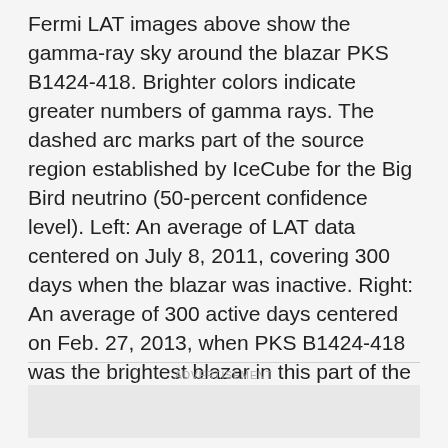Fermi LAT images above show the gamma-ray sky around the blazar PKS B1424-418. Brighter colors indicate greater numbers of gamma rays. The dashed arc marks part of the source region established by IceCube for the Big Bird neutrino (50-percent confidence level). Left: An average of LAT data centered on July 8, 2011, covering 300 days when the blazar was inactive. Right: An average of 300 active days centered on Feb. 27, 2013, when PKS B1424-418 was the brightest blazar in this part of the sky.
ADVERTISEMENT